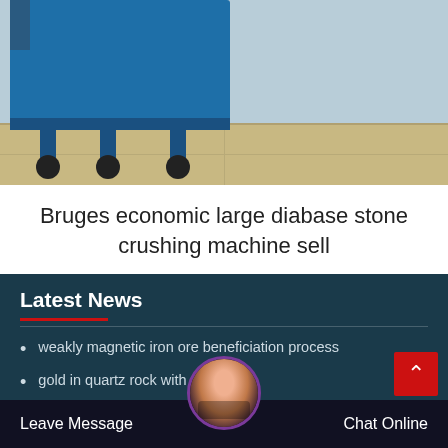[Figure (photo): Photo of a blue industrial cart/trolley on a tiled floor]
Bruges economic large diabase stone crushing machine sell
Latest News
weakly magnetic iron ore beneficiation process
gold in quartz rock with pyrite
beneficiation
ceramic ball mill uses
what is the function of electrostatic precipitator